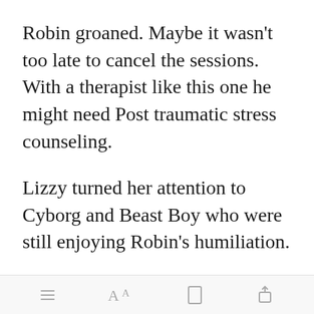Robin groaned. Maybe it wasn't too late to cancel the sessions. With a therapist like this one he might need Post traumatic stress counseling.
Lizzy turned her attention to Cyborg and Beast Boy who were still enjoying Robin's humiliation.
"You two are j[Open in app]es without a
[toolbar icons: menu, font size, bookmark, share]